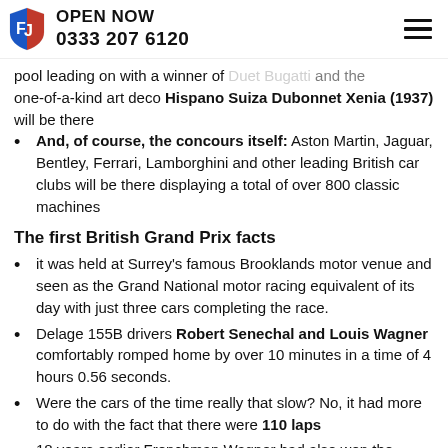OPEN NOW 0333 207 6120
pool leading on with a winner of Duct Bugatti and the one-of-a-kind art deco Hispano Suiza Dubonnet Xenia (1937) will be there
And, of course, the concours itself: Aston Martin, Jaguar, Bentley, Ferrari, Lamborghini and other leading British car clubs will be there displaying a total of over 800 classic machines
The first British Grand Prix facts
it was held at Surrey's famous Brooklands motor venue and seen as the Grand National motor racing equivalent of its day with just three cars completing the race.
Delage 155B drivers Robert Senechal and Louis Wagner comfortably romped home by over 10 minutes in a time of 4 hours 0.56 seconds.
Were the cars of the time really that slow? No, it had more to do with the fact that there were 110 laps
18 years earlier Frenchman Wagner had also won the inaugural US Grand Prix
Even more remarkable is that Wagner had to keep